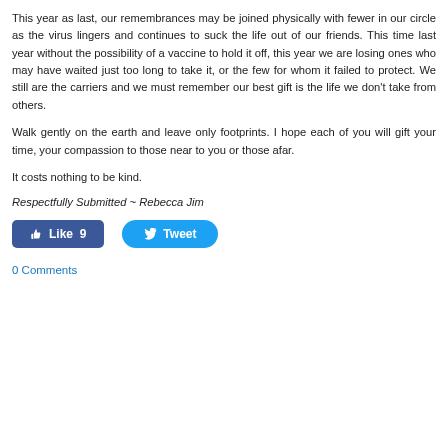This year as last, our remembrances may be joined physically with fewer in our circle as the virus lingers and continues to suck the life out of our friends. This time last year without the possibility of a vaccine to hold it off, this year we are losing ones who may have waited just too long to take it, or the few for whom it failed to protect. We still are the carriers and we must remember our best gift is the life we don't take from others.
Walk gently on the earth and leave only footprints. I hope each of you will gift your time, your compassion to those near to you or those afar.
It costs nothing to be kind.
Respectfully Submitted ~ Rebecca Jim
[Figure (other): Social media buttons: Facebook Like button showing 9 likes, and a Twitter Tweet button]
0 Comments